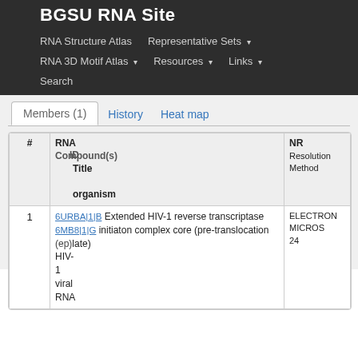BGSU RNA Site
RNA Structure Atlas   Representative Sets ▾
RNA 3D Motif Atlas ▾   Resources ▾   Links ▾
Search
Members (1)   History   Heat map
| # | RNA ID
RNA Title
Compound(s)
organism | NR
Resolution
Method |
| --- | --- | --- |
| 1 | 6URBA|1|B
6MB8|1|G
(ep)
Extended HIV-1 reverse transcriptase
initiaton complex core (pre-translocation
templat)
HIV-1
viral
RNA | ELECTRON
MICROSCOPY
24 |